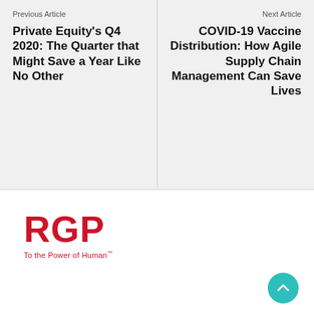Previous Article
Private Equity's Q4 2020: The Quarter that Might Save a Year Like No Other
Next Article
COVID-19 Vaccine Distribution: How Agile Supply Chain Management Can Save Lives
[Figure (logo): RGP logo — red bold letters RGP with tagline 'To the Power of Human']
[Figure (other): Teal circular scroll-to-top button with upward chevron arrow]